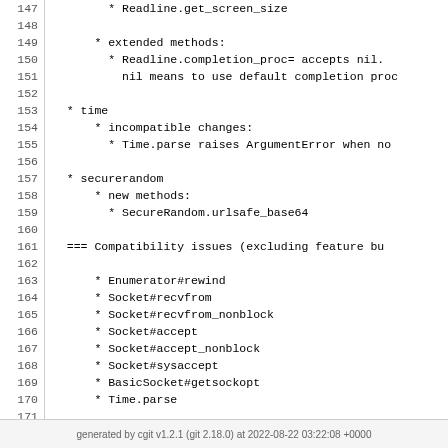147-172 code lines showing Ruby changelog content including readline, time, securerandom sections and compatibility issues list
generated by cgit v1.2.1 (git 2.18.0) at 2022-08-22 03:22:08 +0000